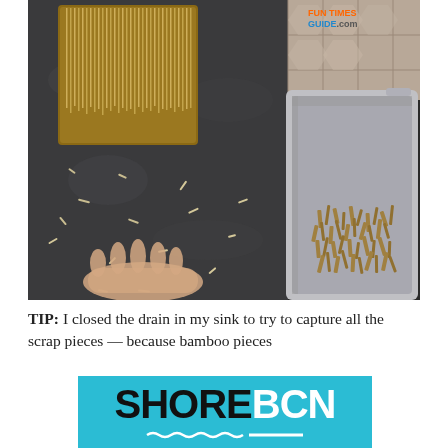[Figure (photo): Kitchen scene showing a bamboo utensil holder with skewers/sticks on a dark granite countertop, scattered toothpick-like bamboo pieces on the counter, a hand visible at bottom left, and a stainless steel sink on the right containing a pile of shredded bamboo scraps. A tile backsplash is visible in the background. FUN TIMES GUIDE .com watermark in upper right.]
TIP: I closed the drain in my sink to try to capture all the scrap pieces — because bamboo pieces
[Figure (logo): SHORE BCN logo on a cyan/teal background. SHORE in bold black letters, BCN in bold white letters, with wave underline decoration beneath SHORE and a white horizontal line beneath BCN.]